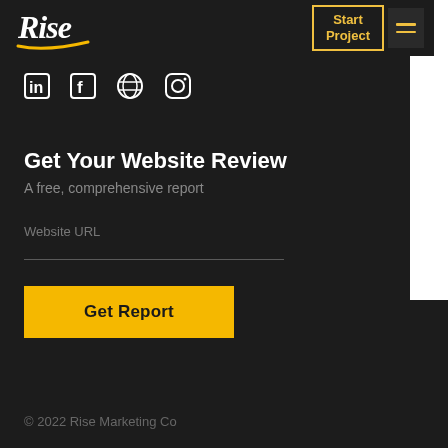[Figure (logo): Rise Marketing Co logo — italic white script text with yellow underline swoosh]
Start Project
[Figure (infographic): Social media icons row: LinkedIn, Facebook, Dribbble, Instagram]
Get Your Website Review
A free, comprehensive report
Website URL
Get Report
© 2022 Rise Marketing Co